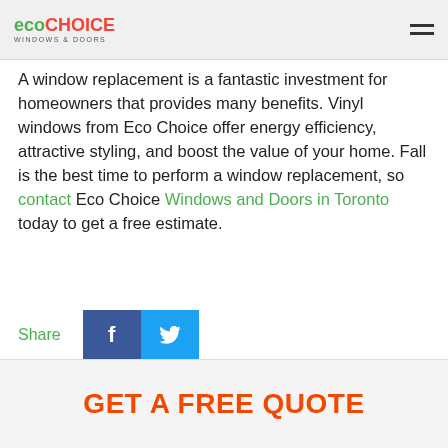eco CHOICE WINDOWS & DOORS
A window replacement is a fantastic investment for homeowners that provides many benefits. Vinyl windows from Eco Choice offer energy efficiency, attractive styling, and boost the value of your home. Fall is the best time to perform a window replacement, so contact Eco Choice Windows and Doors in Toronto today to get a free estimate.
Share
GET A FREE QUOTE